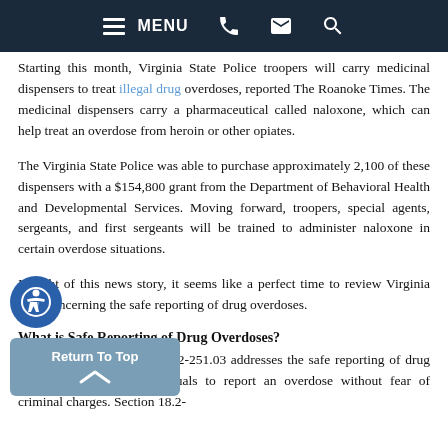MENU [phone] [mail] [search]
Starting this month, Virginia State Police troopers will carry medicinal dispensers to treat illegal drug overdoses, reported The Roanoke Times. The medicinal dispensers carry a pharmaceutical called naloxone, which can help treat an overdose from heroin or other opiates.
The Virginia State Police was able to purchase approximately 2,100 of these dispensers with a $154,800 grant from the Department of Behavioral Health and Developmental Services. Moving forward, troopers, special agents, sergeants, and first sergeants will be trained to administer naloxone in certain overdose situations.
In light of this news story, it seems like a perfect time to review Virginia laws concerning the safe reporting of drug overdoses.
What is Safe Reporting of Drug Overdoses?
Code of Virginia Section 18.2-251.03 addresses the safe reporting of drug overdoses, enabling individuals to report an overdose without fear of criminal charges. Section 18.2-